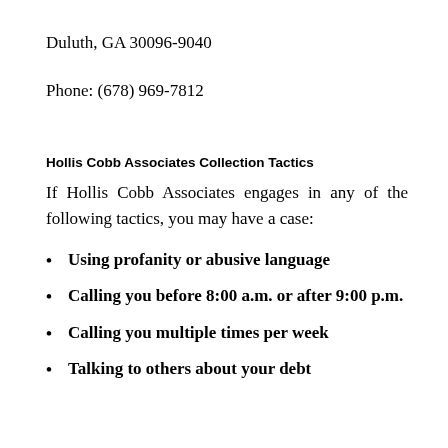Duluth, GA 30096-9040
Phone: (678) 969-7812
Hollis Cobb Associates Collection Tactics
If Hollis Cobb Associates engages in any of the following tactics, you may have a case:
Using profanity or abusive language
Calling you before 8:00 a.m. or after 9:00 p.m.
Calling you multiple times per week
Talking to others about your debt